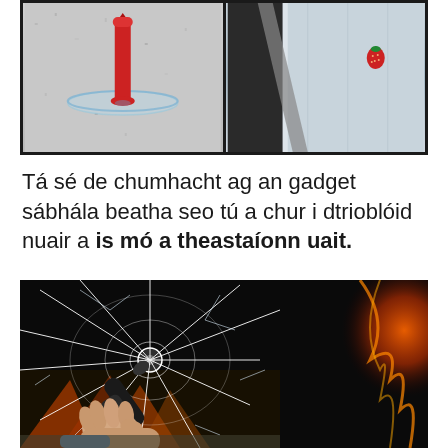[Figure (photo): Two side-by-side product photos on dark background: left shows a red suction cup tool on a granite surface; right shows a car seat interior with a small red strawberry emblem]
Tá sé de chumhacht ag an gadget sábhála beatha seo tú a chur i dtrioblóid nuair a is mó a theastaíonn uait.
[Figure (photo): A hand holding a black emergency car escape hammer tool against a shattered car windshield with orange fire visible in the background]